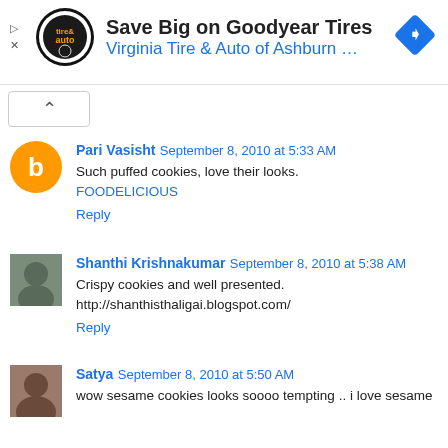[Figure (other): Advertisement banner for Virginia Tire & Auto of Ashburn featuring the store logo, text 'Save Big on Goodyear Tires' and 'Virginia Tire & Auto of Ashburn ...' with a blue diamond-shaped navigation icon]
Pari Vasisht  September 8, 2010 at 5:33 AM
Such puffed cookies, love their looks.
FOODELICIOUS
Reply
Shanthi Krishnakumar  September 8, 2010 at 5:38 AM
Crispy cookies and well presented.
http://shanthisthaligai.blogspot.com/
Reply
Satya  September 8, 2010 at 5:50 AM
wow sesame cookies looks soooo tempting .. i love sesame